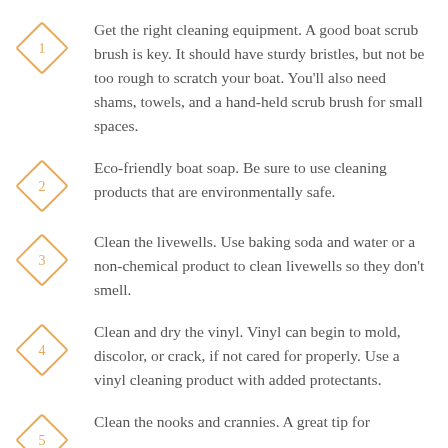Get the right cleaning equipment. A good boat scrub brush is key. It should have sturdy bristles, but not be too rough to scratch your boat. You’ll also need shams, towels, and a hand-held scrub brush for small spaces.
Eco-friendly boat soap. Be sure to use cleaning products that are environmentally safe.
Clean the livewells. Use baking soda and water or a non-chemical product to clean livewells so they don’t smell.
Clean and dry the vinyl. Vinyl can begin to mold, discolor, or crack, if not cared for properly. Use a vinyl cleaning product with added protectants.
Clean the nooks and crannies. A great tip for